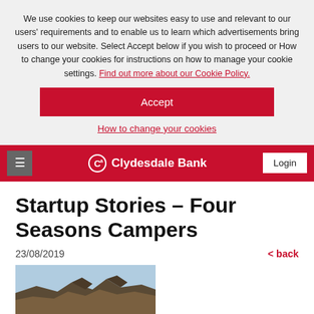We use cookies to keep our websites easy to use and relevant to our users' requirements and to enable us to learn which advertisements bring users to our website. Select Accept below if you wish to proceed or How to change your cookies for instructions on how to manage your cookie settings. Find out more about our Cookie Policy.
Accept
How to change your cookies
≡  Clydesdale Bank  Login
Startup Stories – Four Seasons Campers
23/08/2019
< back
[Figure (photo): Outdoor landscape photo showing rocky cliffs and sky, partially visible at bottom of page]